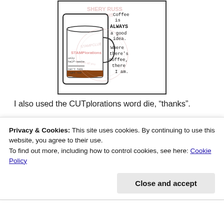[Figure (illustration): A rubber stamp product image showing a coffee mug with text 'Coffee is ALWAYS a good idea. Where there's coffee, there I am.' with small labels 'only half-awake' and 'can't talk right now'. Watermark text 'SHERY RUSS DESIGNS' and circular stamp watermark overlay.]
I also used the CUTplorations word die, “thanks”.
[Figure (illustration): A die-cut word 'thanks' in decorative script lettering, shown in light gray/silver outline style.]
Privacy & Cookies: This site uses cookies. By continuing to use this website, you agree to their use.
To find out more, including how to control cookies, see here: Cookie Policy
Close and accept